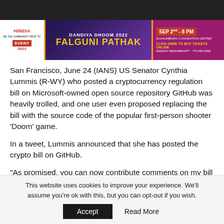[Figure (photo): Top dark image strip (partially visible photo)]
[Figure (infographic): Hi India Event 2022 banner advertisement for Dandiya Dhoom 2022 featuring Falguni Pathak, Sep 2nd 8PM at Schaumburg Convention Center]
San Francisco, June 24 (IANS) US Senator Cynthia Lummis (R-WY) who posted a cryptocurrency regulation bill on Microsoft-owned open source repository GitHub was heavily trolled, and one user even proposed replacing the bill with the source code of the popular first-person shooter ‘Doom’ game.
In a tweet, Lummis announced that she has posted the crypto bill on GitHub.
“As promised, you can now contribute comments on my bill
This website uses cookies to improve your experience. We'll assume you're ok with this, but you can opt-out if you wish.
Accept    Read More